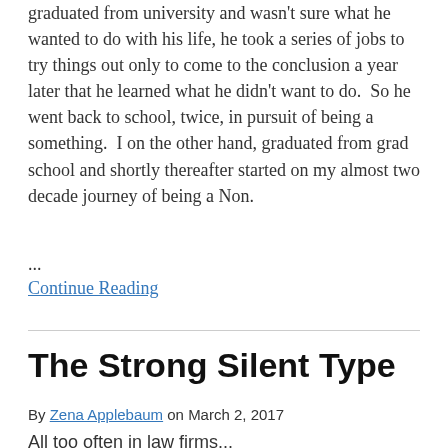graduated from university and wasn't sure what he wanted to do with his life, he took a series of jobs to try things out only to come to the conclusion a year later that he learned what he didn't want to do.  So he went back to school, twice, in pursuit of being a something.  I on the other hand, graduated from grad school and shortly thereafter started on my almost two decade journey of being a Non.
...
Continue Reading
The Strong Silent Type
By Zena Applebaum on March 2, 2017
All too often in law firms...